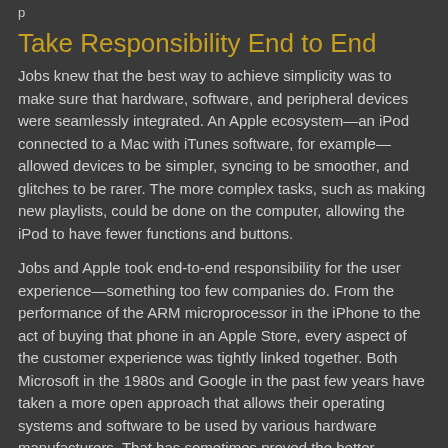p
Take Responsibility End to End
Jobs knew that the best way to achieve simplicity was to make sure that hardware, software, and peripheral devices were seamlessly integrated. An Apple ecosystem—an iPod connected to a Mac with iTunes software, for example—allowed devices to be simpler, syncing to be smoother, and glitches to be rarer. The more complex tasks, such as making new playlists, could be done on the computer, allowing the iPod to have fewer functions and buttons.
Jobs and Apple took end-to-end responsibility for the user experience—something too few companies do. From the performance of the ARM microprocessor in the iPhone to the act of buying that phone in an Apple Store, every aspect of the customer experience was tightly linked together. Both Microsoft in the 1980s and Google in the past few years have taken a more open approach that allows their operating systems and software to be used by various hardware manufacturers. That has sometimes proved the better business model. But Jobs fervently believed that it was a